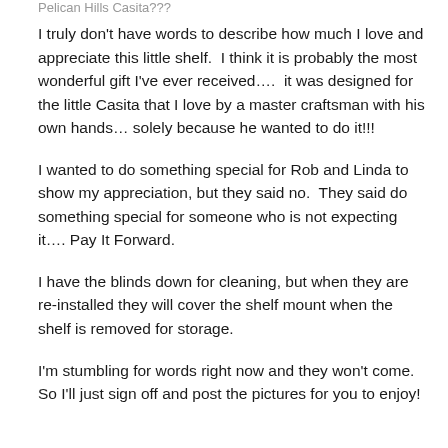Pelican Hills Casita???
I truly don't have words to describe how much I love and appreciate this little shelf.  I think it is probably the most wonderful gift I've ever received….  it was designed for the little Casita that I love by a master craftsman with his own hands… solely because he wanted to do it!!!
I wanted to do something special for Rob and Linda to show my appreciation, but they said no.  They said do something special for someone who is not expecting it…. Pay It Forward.
I have the blinds down for cleaning, but when they are re-installed they will cover the shelf mount when the shelf is removed for storage.
I'm stumbling for words right now and they won't come. So I'll just sign off and post the pictures for you to enjoy!